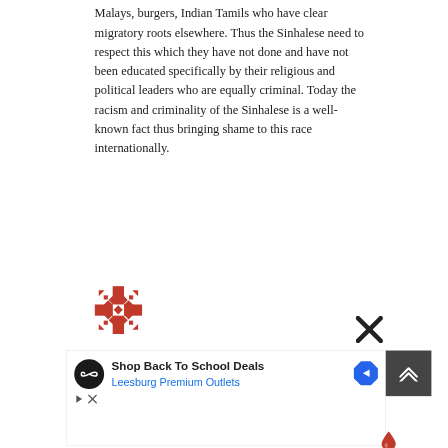Malays, burgers, Indian Tamils who have clear migratory roots elsewhere. Thus the Sinhalese need to respect this which they have not done and have not been educated specifically by their religious and political leaders who are equally criminal. Today the racism and criminality of the Sinhalese is a well-known fact thus bringing shame to this race internationally.
[Figure (logo): Red geometric snowflake/cross-shaped logo icon]
[Figure (other): Black X close button icon]
[Figure (screenshot): Advertisement banner: Shop Back To School Deals - Leesburg Premium Outlets, with circular logo and blue diamond navigation icon, plus scroll-up button]